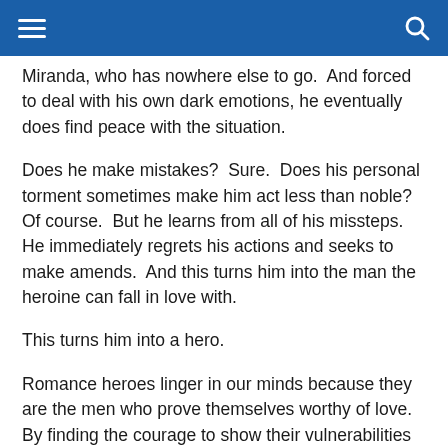p ... g ... Miranda, who has nowhere else to go.  And forced to deal with his own dark emotions, he eventually does find peace with the situation.
Does he make mistakes?  Sure.  Does his personal torment sometimes make him act less than noble?  Of course.  But he learns from all of his missteps.  He immediately regrets his actions and seeks to make amends.  And this turns him into the man the heroine can fall in love with.
This turns him into a hero.
Romance heroes linger in our minds because they are the men who prove themselves worthy of love.  By finding the courage to show their vulnerabilities and their strengths, they open up their hearts, and steal ours.